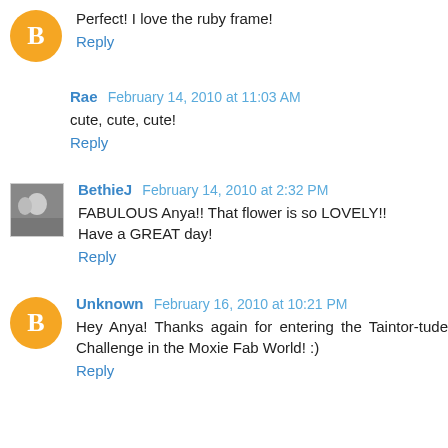Perfect! I love the ruby frame!
Reply
Rae  February 14, 2010 at 11:03 AM
cute, cute, cute!
Reply
BethieJ  February 14, 2010 at 2:32 PM
FABULOUS Anya!! That flower is so LOVELY!! Have a GREAT day!
Reply
Unknown  February 16, 2010 at 10:21 PM
Hey Anya! Thanks again for entering the Taintor-tude Challenge in the Moxie Fab World! :)
Reply